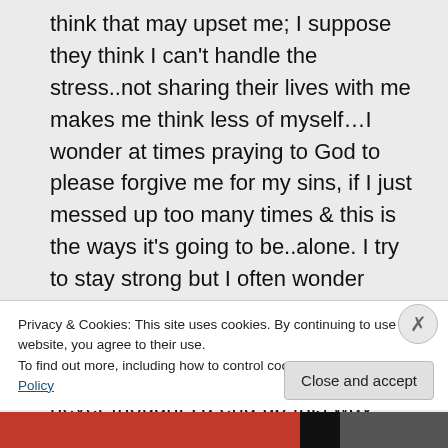think that may upset me; I suppose they think I can't handle the stress..not sharing their lives with me makes me think less of myself…I wonder at times praying to God to please forgive me for my sins, if I just messed up too many times & this is the ways it's going to be..alone. I try to stay strong but I often wonder why..mostly b-cause who'd take care of me anyways…I know; whoa is me..but it's just gets harder & harder, never thought I'd end up this way
Privacy & Cookies: This site uses cookies. By continuing to use this website, you agree to their use.
To find out more, including how to control cookies, see here: Cookie Policy
Close and accept